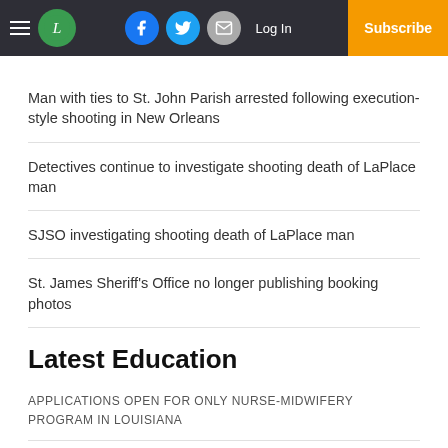L [logo] | Facebook | Twitter | Email | Log In | Subscribe
Man with ties to St. John Parish arrested following execution-style shooting in New Orleans
Detectives continue to investigate shooting death of LaPlace man
SJSO investigating shooting death of LaPlace man
St. James Sheriff's Office no longer publishing booking photos
Latest Education
APPLICATIONS OPEN FOR ONLY NURSE-MIDWIFERY PROGRAM IN LOUISIANA
...